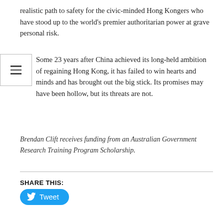realistic path to safety for the civic-minded Hong Kongers who have stood up to the world’s premier authoritarian power at grave personal risk.
Some 23 years after China achieved its long-held ambition of regaining Hong Kong, it has failed to win hearts and minds and has brought out the big stick. Its promises may have been hollow, but its threats are not.
Brendan Clift receives funding from an Australian Government Research Training Program Scholarship.
SHARE THIS:
[Figure (other): Tweet button with Twitter bird logo on blue rounded rectangle]